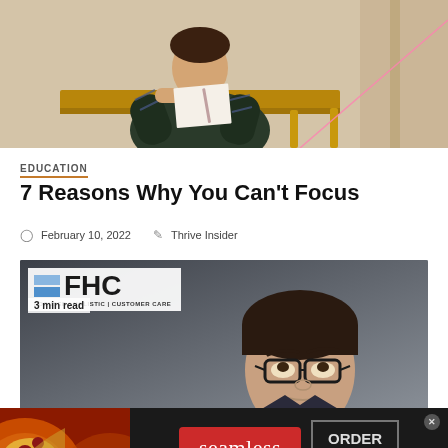[Figure (photo): Person sitting at a wooden desk writing on paper, wearing a dark sweater with patterned sleeves, photographed from above/side angle]
EDUCATION
7 Reasons Why You Can’t Focus
February 10, 2022   Thrive Insider
[Figure (photo): Article featured image showing a young man with glasses looking upward pensively, with FHC (Focused | Holistic | Customer Care) logo overlay and '3 min read' badge in top left corner]
[Figure (infographic): Seamless food delivery advertisement banner showing pizza on the left, red Seamless button in center, and ORDER NOW button on the right with a close X button]